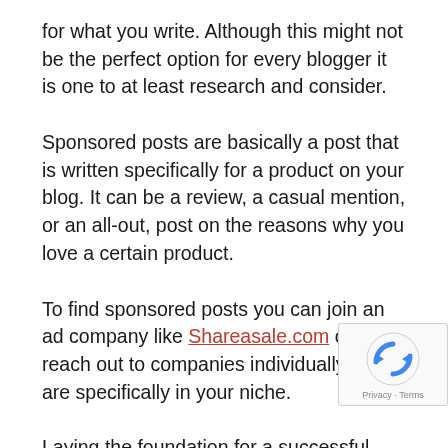for what you write. Although this might not be the perfect option for every blogger it is one to at least research and consider.
Sponsored posts are basically a post that is written specifically for a product on your blog. It can be a review, a casual mention, or an all-out, post on the reasons why you love a certain product.
To find sponsored posts you can join an ad company like Shareasale.com or reach out to companies individually that are specifically in your niche.
Laying the foundation for a successful money-
[Figure (other): Google reCAPTCHA badge with Privacy and Terms links]